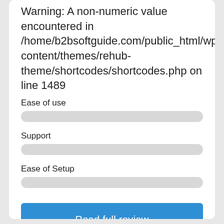Warning: A non-numeric value encountered in /home/b2bsoftguide.com/public_html/wp-content/themes/rehub-theme/shortcodes/shortcodes.php on line 1489
Ease of use
[Figure (other): Empty gray progress bar for Ease of use]
Support
[Figure (other): Empty gray progress bar for Support]
Ease of Setup
[Figure (other): Empty gray progress bar for Ease of Setup]
Read full review
Free Trial